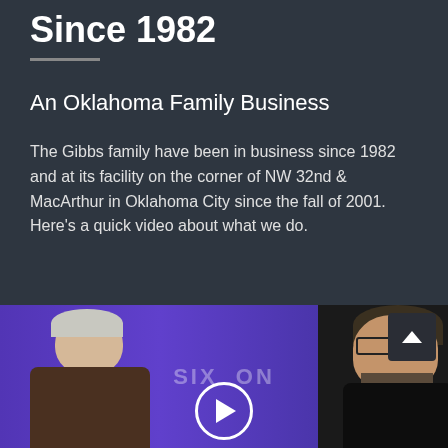Since 1982
An Oklahoma Family Business
The Gibbs family have been in business since 1982 and at its facility on the corner of NW 32nd & MacArthur in Oklahoma City since the fall of 2001. Here's a quick video about what we do.
[Figure (screenshot): Video thumbnail showing two men against a purple background with 'SIX ON' watermark text and a circular play button at the bottom center. A scroll-up button appears in the top right corner.]